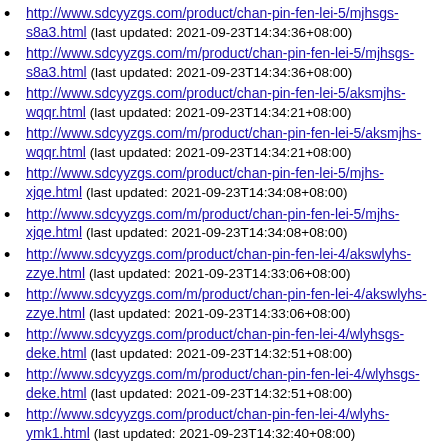http://www.sdcyyzgs.com/product/chan-pin-fen-lei-5/mjhsgs-s8a3.html (last updated: 2021-09-23T14:34:36+08:00)
http://www.sdcyyzgs.com/m/product/chan-pin-fen-lei-5/mjhsgs-s8a3.html (last updated: 2021-09-23T14:34:36+08:00)
http://www.sdcyyzgs.com/product/chan-pin-fen-lei-5/aksmjhs-wqqr.html (last updated: 2021-09-23T14:34:21+08:00)
http://www.sdcyyzgs.com/m/product/chan-pin-fen-lei-5/aksmjhs-wqqr.html (last updated: 2021-09-23T14:34:21+08:00)
http://www.sdcyyzgs.com/product/chan-pin-fen-lei-5/mjhs-xjqe.html (last updated: 2021-09-23T14:34:08+08:00)
http://www.sdcyyzgs.com/m/product/chan-pin-fen-lei-5/mjhs-xjqe.html (last updated: 2021-09-23T14:34:08+08:00)
http://www.sdcyyzgs.com/product/chan-pin-fen-lei-4/akswlyhs-zzye.html (last updated: 2021-09-23T14:33:06+08:00)
http://www.sdcyyzgs.com/m/product/chan-pin-fen-lei-4/akswlyhs-zzye.html (last updated: 2021-09-23T14:33:06+08:00)
http://www.sdcyyzgs.com/product/chan-pin-fen-lei-4/wlyhsgs-deke.html (last updated: 2021-09-23T14:32:51+08:00)
http://www.sdcyyzgs.com/m/product/chan-pin-fen-lei-4/wlyhsgs-deke.html (last updated: 2021-09-23T14:32:51+08:00)
http://www.sdcyyzgs.com/product/chan-pin-fen-lei-4/wlyhs-ymk1.html (last updated: 2021-09-23T14:32:40+08:00)
http://www.sdcyyzgs.com/m/product/chan-pin-fen-lei-4/wlyhs-ymk1.html (last updated: 2021-09-23T14:32:40+08:00)
http://www.sdcyyzgs.com/product/chan-pin-fen-lei-